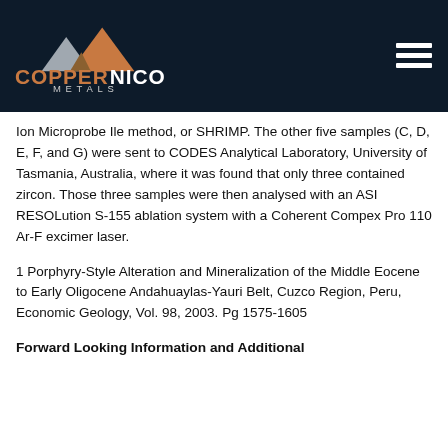CopperNico Metals
Ion Microprobe Ile method, or SHRIMP. The other five samples (C, D, E, F, and G) were sent to CODES Analytical Laboratory, University of Tasmania, Australia, where it was found that only three contained zircon. Those three samples were then analysed with an ASI RESOLution S-155 ablation system with a Coherent Compex Pro 110 Ar-F excimer laser.
1 Porphyry-Style Alteration and Mineralization of the Middle Eocene to Early Oligocene Andahuaylas-Yauri Belt, Cuzco Region, Peru, Economic Geology, Vol. 98, 2003. Pg 1575-1605
Forward Looking Information and Additional